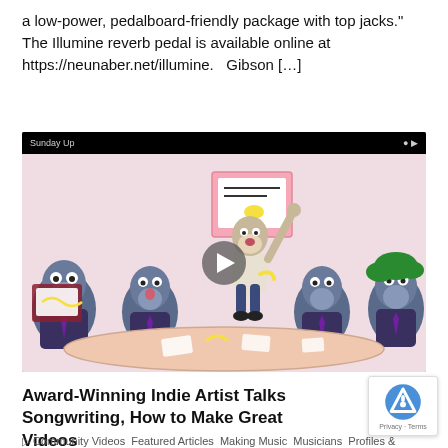a low-power, pedalboard-friendly package with top jacks." The Illumine reverb pedal is available online at https://neunaber.net/illumine.   Gibson […]
[Figure (illustration): Animated cartoon video thumbnail showing cartoon gorilla/monkey characters in business suits seated around a conference table, with one character pointing upward at a presentation board. A play button is overlaid in the center.]
Award-Winning Indie Artist Talks Songwriting, How to Make Great Videos
Community Videos Featured Articles Making Music Musicians Profiles &